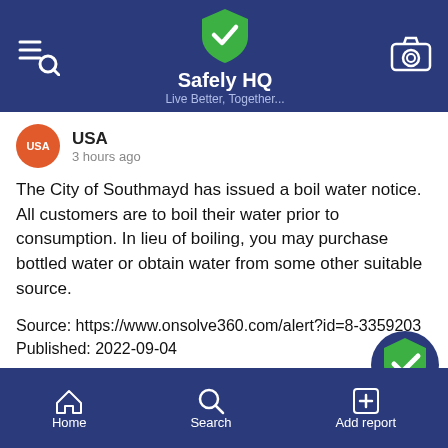Safely HQ — Live Better, Together...
USA
3 hours ago
The City of Southmayd has issued a boil water notice. All customers are to boil their water prior to consumption. In lieu of boiling, you may purchase bottled water or obtain water from some other suitable source.
Source: https://www.onsolve360.com/alert?id=8-3359203
Published: 2022-09-04
#boilwateradvisory #southmayd #texas #unitedst...
Home   Search   Add report